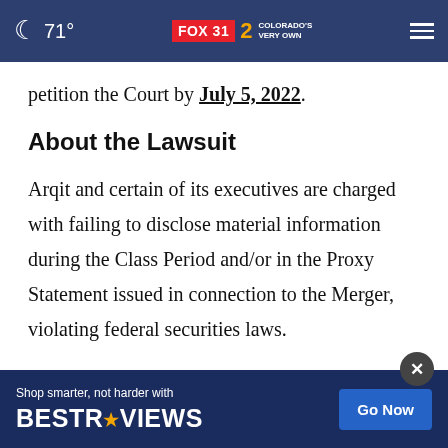71° FOX 31 2 COLORADO'S VERY OWN
petition the Court by July 5, 2022.
About the Lawsuit
Arqit and certain of its executives are charged with failing to disclose material information during the Class Period and/or in the Proxy Statement issued in connection to the Merger, violating federal securities laws.
The alleged false and misleading statements and d... o,
[Figure (infographic): Advertisement banner: Shop smarter, not harder with BESTREVIEWS. Go Now button. X close button in upper right.]